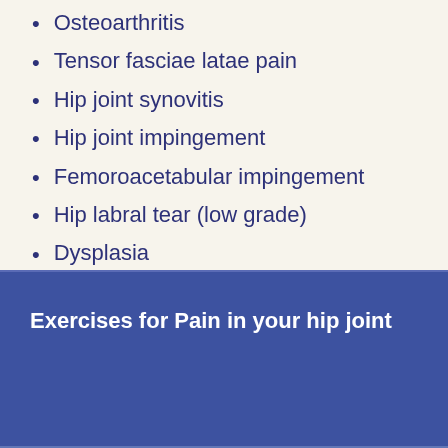Osteoarthritis
Tensor fasciae latae pain
Hip joint synovitis
Hip joint impingement
Femoroacetabular impingement
Hip labral tear (low grade)
Dysplasia
Exercises for Pain in your hip joint